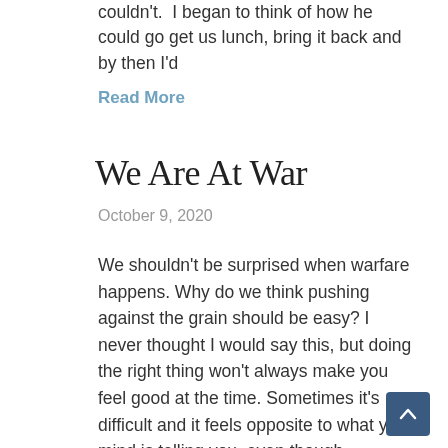couldn't.  I began to think of how he could go get us lunch, bring it back and by then I'd
Read More
We Are At War
October 9, 2020
We shouldn't be surprised when warfare happens. Why do we think pushing against the grain should be easy? I never thought I would say this, but doing the right thing won't always make you feel good at the time. Sometimes it's difficult and it feels opposite to what your mind is telling you, even though